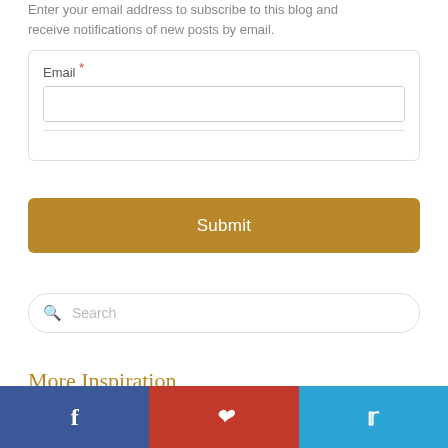Enter your email address to subscribe to this blog and receive notifications of new posts by email.
Email *
[Figure (screenshot): Email subscription form with an Email label, an empty text input field, and a Submit button in golden/brown color.]
[Figure (screenshot): Search bar with magnifying glass icon and placeholder text 'Search']
More Inspiration
[Figure (infographic): Social sharing bar with three buttons: Facebook (blue), Pinterest (red), Twitter (light blue)]